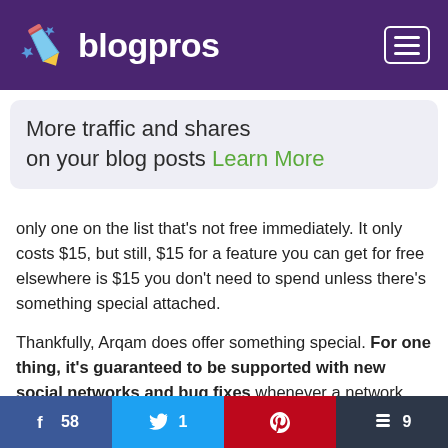[Figure (logo): blogpros logo with rocket/pencil icon on purple header background with hamburger menu button]
More traffic and shares on your blog posts Learn More
only one on the list that's not free immediately. It only costs $15, but still, $15 for a feature you can get for free elsewhere is $15 you don't need to spend unless there's something special attached.

Thankfully, Arqam does offer something special. For one thing, it's guaranteed to be supported with new social networks and bug fixes whenever a network changes
[Figure (infographic): Social share bar with Facebook (58), Twitter (1), Pinterest, and Buffer (9) buttons]